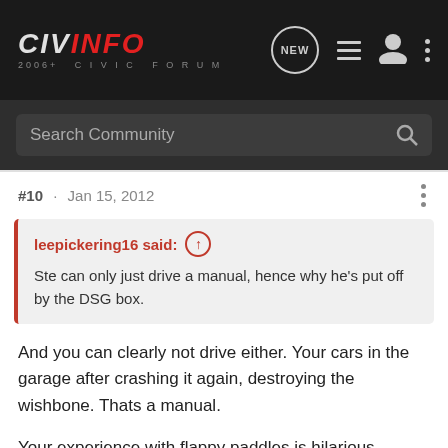CIV INFO 2006+ CIVIC FORUM
Search Community
#10  ·  Jan 15, 2012
leepickering16 said: ↑
Ste can only just drive a manual, hence why he's put off by the DSG box.
And you can clearly not drive either. Your cars in the garage after crashing it again, destroying the wishbone. Thats a manual.
Your experience with flappy paddles is hilarious. Struggling to drive the Ferrari 360 on your track day and complaining because of the flappy paddles.
Oooh and biting! But lets have a constructive...